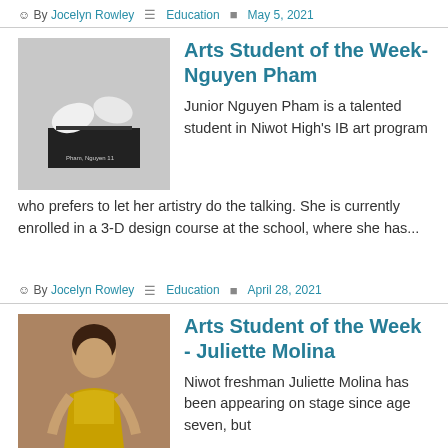By Jocelyn Rowley  Education  May 5, 2021
[Figure (photo): White sculptural hands on a black base, labeled 'Pham, Nguyen 11']
Arts Student of the Week-Nguyen Pham
Junior Nguyen Pham is a talented student in Niwot High's IB art program who prefers to let her artistry do the talking. She is currently enrolled in a 3-D design course at the school, where she has...
By Jocelyn Rowley  Education  April 28, 2021
[Figure (photo): Young woman in a gold dress on stage]
Arts Student of the Week - Juliette Molina
Niwot freshman Juliette Molina has been appearing on stage since age seven, but when the COVID-19 pandemic cancelled live